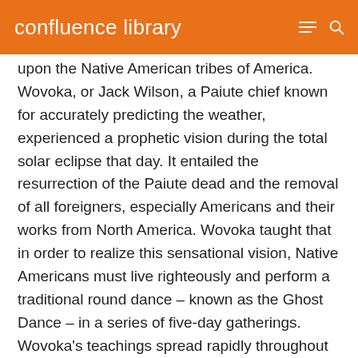confluence library
upon the Native American tribes of America. Wovoka, or Jack Wilson, a Paiute chief known for accurately predicting the weather, experienced a prophetic vision during the total solar eclipse that day. It entailed the resurrection of the Paiute dead and the removal of all foreigners, especially Americans and their works from North America. Wovoka taught that in order to realize this sensational vision, Native Americans must live righteously and perform a traditional round dance – known as the Ghost Dance – in a series of five-day gatherings. Wovoka's teachings spread rapidly throughout Native American tribes, and his teachings included messages of non-violence. Wovoka warned his followers in all nations not to forget their traditional ways or the spirits of their deceased ancestors.
The movement was widely practiced among the Oglala Sioux people. Dancers formed a large circle with several hundred people participating. The circle went in seven